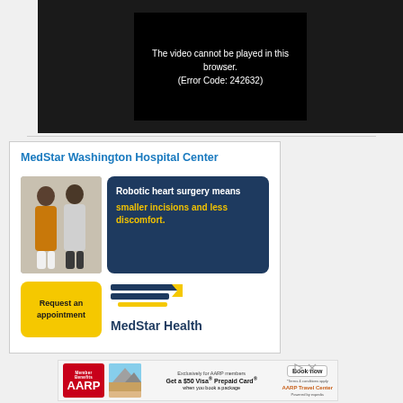[Figure (screenshot): Video player showing error message: 'The video cannot be played in this browser. (Error Code: 242632)' on dark background]
[Figure (photo): MedStar Washington Hospital Center advertisement. Shows two people walking, blue box with text 'Robotic heart surgery means smaller incisions and less discomfort.' Yellow button 'Request an appointment', MedStar Health logo with navy and yellow stripes.]
[Figure (screenshot): AARP advertisement banner: 'Exclusively for AARP members. Get a $50 Visa Prepaid Card when you book a package. Book now. AARP Travel Center Powered by Expedia']